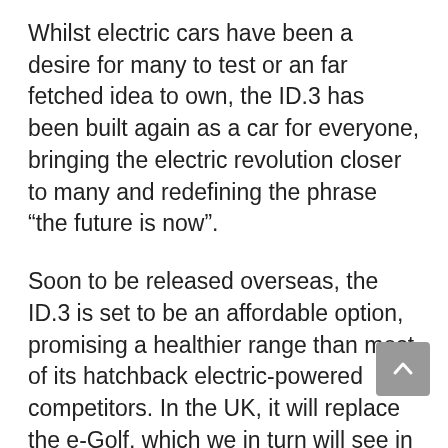Whilst electric cars have been a desire for many to test or an far fetched idea to own, the ID.3 has been built again as a car for everyone, bringing the electric revolution closer to many and redefining the phrase “the future is now”.
Soon to be released overseas, the ID.3 is set to be an affordable option, promising a healthier range than most of its hatchback electric-powered competitors. In the UK, it will replace the e-Golf, which we in turn will see in 2021 and 2022.
However, the ID.3 is set to bring the same hype than that of the Tesla Model 3; only within the smaller EV market.
The ID.3 is said to develop 310bhp, whilst also